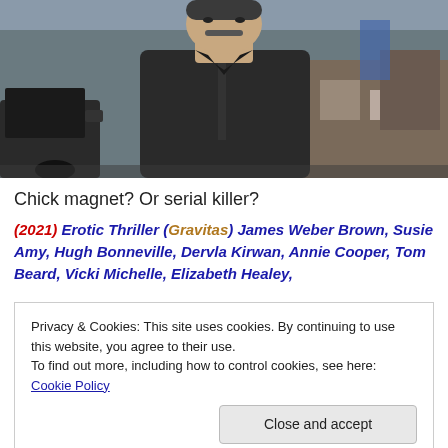[Figure (photo): A middle-aged man in a dark zippered jacket standing outdoors near a car, with industrial/junkyard background.]
Chick magnet? Or serial killer?
(2021) Erotic Thriller (Gravitas) James Weber Brown, Susie Amy, Hugh Bonneville, Dervla Kirwan, Annie Cooper, Tom Beard, Vicki Michelle, Elizabeth Healey,
Privacy & Cookies: This site uses cookies. By continuing to use this website, you agree to their use.
To find out more, including how to control cookies, see here: Cookie Policy
Close and accept
a voracious appetite for them; their television